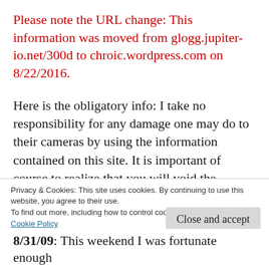Please note the URL change: This information was moved from glogg.jupiter-io.net/300d to chroic.wordpress.com on 8/22/2016.
Here is the obligatory info: I take no responsibility for any damage one may do to their cameras by using the information contained on this site. It is important of course to realize that you will void the warranty of your camera by partaking in any of these mods. All information on this site is copyright (c)
Privacy & Cookies: This site uses cookies. By continuing to use this website, you agree to their use.
To find out more, including how to control cookies, see here:
Cookie Policy
Close and accept
8/31/09: This weekend I was fortunate enough